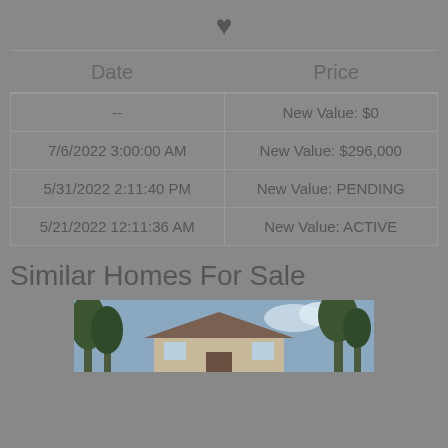[Figure (other): Heart/favorite icon (filled dark heart shape)]
| Date | Price |
| --- | --- |
| -- | New Value: $0 |
| 7/6/2022 3:00:00 AM | New Value: $296,000 |
| 5/31/2022 2:11:40 PM | New Value: PENDING |
| 5/21/2022 12:11:36 AM | New Value: ACTIVE |
Similar Homes For Sale
[Figure (photo): Photo of a house exterior with trees and blue sky visible]